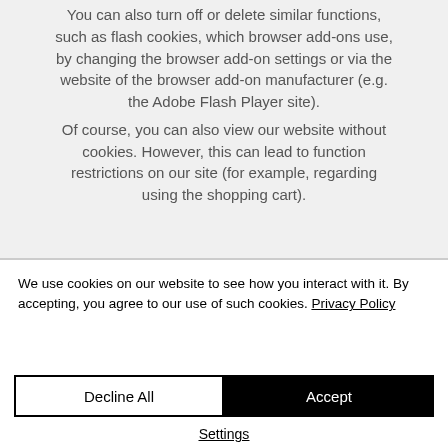You can also turn off or delete similar functions, such as flash cookies, which browser add-ons use, by changing the browser add-on settings or via the website of the browser add-on manufacturer (e.g. the Adobe Flash Player site). Of course, you can also view our website without cookies. However, this can lead to function restrictions on our site (for example, regarding using the shopping cart).
We use cookies on our website to see how you interact with it. By accepting, you agree to our use of such cookies. Privacy Policy